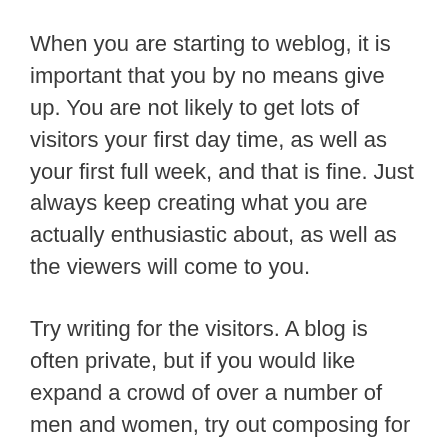When you are starting to weblog, it is important that you by no means give up. You are not likely to get lots of visitors your first day time, as well as your first full week, and that is fine. Just always keep creating what you are actually enthusiastic about, as well as the viewers will come to you.
Try writing for the visitors. A blog is often private, but if you would like expand a crowd of over a number of men and women, try out composing for the readers also. Consider thinking of how the followers can usually benefit from your site content. Should you wish to be described as a solitary beneficiary on this page, you ought to produce a exclusive journal.